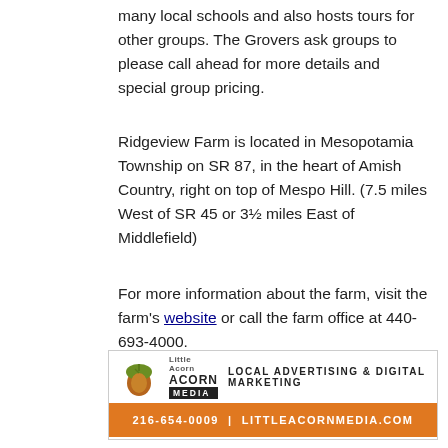many local schools and also hosts tours for other groups. The Grovers ask groups to please call ahead for more details and special group pricing.
Ridgeview Farm is located in Mesopotamia Township on SR 87, in the heart of Amish Country, right on top of Mespo Hill. (7.5 miles West of SR 45 or 3½ miles East of Middlefield)
For more information about the farm, visit the farm's website or call the farm office at 440-693-4000.
For more fall events in and around Geauga County, see our events page.
[Figure (other): Little Acorn Media advertisement banner — LOCAL ADVERTISING & DIGITAL MARKETING — 216-654-0009 | LITTLEACORNMEDIA.COM]